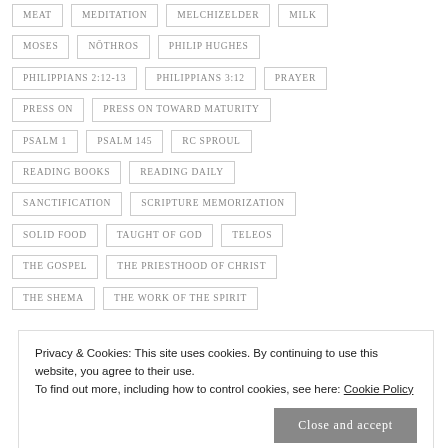MEAT
MEDITATION
MELCHIZELDER
MILK
MOSES
NŌTHROS
PHILIP HUGHES
PHILIPPIANS 2:12-13
PHILIPPIANS 3:12
PRAYER
PRESS ON
PRESS ON TOWARD MATURITY
PSALM 1
PSALM 145
RC SPROUL
READING BOOKS
READING DAILY
SANCTIFICATION
SCRIPTURE MEMORIZATION
SOLID FOOD
TAUGHT OF GOD
TELEOS
THE GOSPEL
THE PRIESTHOOD OF CHRIST
THE SHEMA
THE WORK OF THE SPIRIT
Privacy & Cookies: This site uses cookies. By continuing to use this website, you agree to their use.
To find out more, including how to control cookies, see here: Cookie Policy
Close and accept